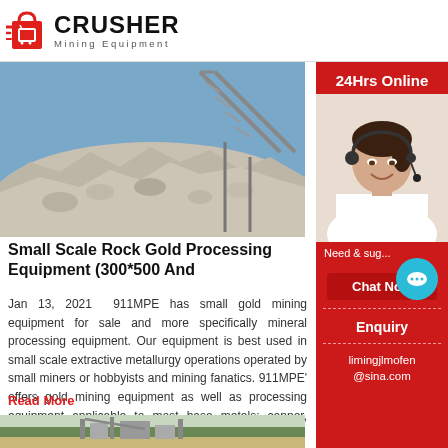CRUSHER Mining Equipment
[Figure (photo): Pile of crushed rock/aggregate with a conveyor belt structure in the background against a blue sky.]
Small Scale Rock Gold Processing Equipment (300*500 And
Jan 13, 2021  911MPE has small gold mining equipment for sale and more specifically mineral processing equipment. Our equipment is best used in small scale extractive metallurgy operations operated by small miners or hobbyist prospectors and mining fanatics. 911MPE' offers gold mining equipment as well as processing equipment applicable to most any base metals: copper, lead, zinc,
Read More
[Figure (photo): Industrial mining/crushing plant with equipment and structures in a clearing surrounded by trees.]
[Figure (photo): Sidebar: Customer service representative with headset smiling, with 24Hrs Online banner, chat button, Need & suggestions text, Chat Now button, Enquiry section, and email limingjlmofen@sina.com]